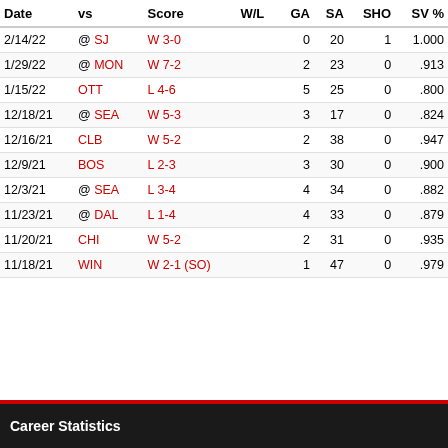| Date | vs | Score | W/L | GA | SA | SHO | SV % |
| --- | --- | --- | --- | --- | --- | --- | --- |
| 2/14/22 | @ SJ | W 3-0 |  | 0 | 20 | 1 | 1.000 |
| 1/29/22 | @ MON | W 7-2 |  | 2 | 23 | 0 | .913 |
| 1/15/22 | OTT | L 4-6 |  | 5 | 25 | 0 | .800 |
| 12/18/21 | @ SEA | W 5-3 |  | 3 | 17 | 0 | .824 |
| 12/16/21 | CLB | W 5-2 |  | 2 | 38 | 0 | .947 |
| 12/9/21 | BOS | L 2-3 |  | 3 | 30 | 0 | .900 |
| 12/3/21 | @ SEA | L 3-4 |  | 4 | 34 | 0 | .882 |
| 11/23/21 | @ DAL | L 1-4 |  | 4 | 33 | 0 | .879 |
| 11/20/21 | CHI | W 5-2 |  | 2 | 31 | 0 | .935 |
| 11/18/21 | WIN | W 2-1 (SO) |  | 1 | 47 | 0 | .979 |
Career Statistics